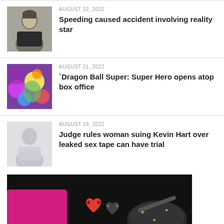[Figure (photo): Thumbnail photo of a man in a black shirt]
AUGUST 22, 2022
Speeding caused accident involving reality star
[Figure (photo): Colorful illustrated thumbnail, Dragon Ball Super characters]
AUGUST 21, 2022
`Dragon Ball Super: Super Hero opens atop box office
[Figure (photo): Pale/faded thumbnail of a person]
AUGUST 19, 2022
Judge rules woman suing Kevin Hart over leaked sex tape can have trial
[Figure (photo): Advertisement banner showing Crocs/shoes with heart charms and text Shop With GLAM...]